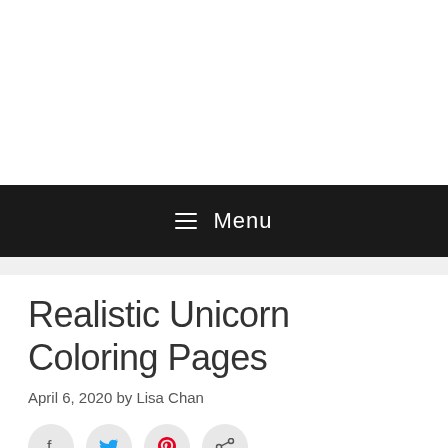Menu
Realistic Unicorn Coloring Pages
April 6, 2020 by Lisa Chan
[Figure (infographic): Social share buttons: Facebook, Twitter, Pinterest, Share icons in circular grey buttons]
Coloring activities become activities that have an important role in the development of children